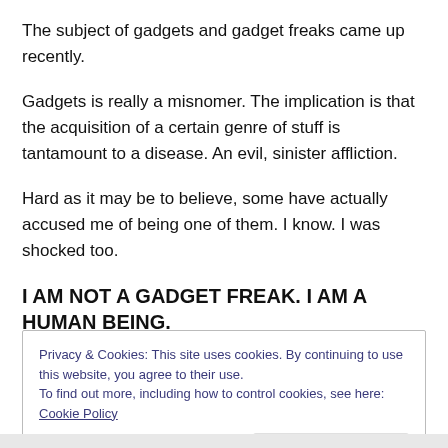The subject of gadgets and gadget freaks came up recently.
Gadgets is really a misnomer. The implication is that the acquisition of a certain genre of stuff is tantamount to a disease. An evil, sinister affliction.
Hard as it may be to believe, some have actually accused me of being one of them. I know. I was shocked too.
I AM NOT A GADGET FREAK. I AM A HUMAN BEING.
(partial, obscured text)
Privacy & Cookies: This site uses cookies. By continuing to use this website, you agree to their use.
To find out more, including how to control cookies, see here: Cookie Policy